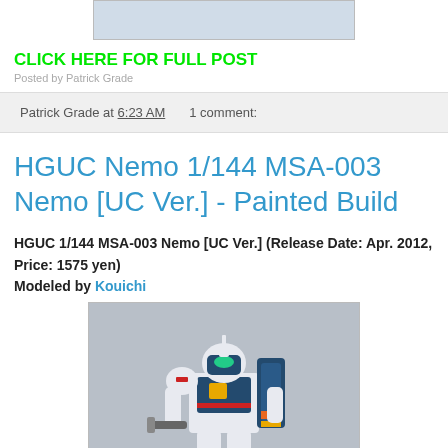[Figure (photo): Top partial image of a model kit, light blue/grey sky background]
CLICK HERE FOR FULL POST
Patrick Grade at 6:23 AM   1 comment:
HGUC Nemo 1/144 MSA-003 Nemo [UC Ver.] - Painted Build
HGUC 1/144 MSA-003 Nemo [UC Ver.] (Release Date: Apr. 2012, Price: 1575 yen)
Modeled by Kouichi
[Figure (photo): HGUC 1/144 MSA-003 Nemo UC Ver. painted model kit figure, white and teal mech suit against grey background]